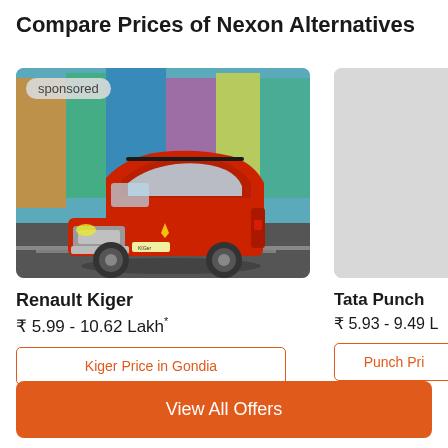Compare Prices of Nexon Alternatives
[Figure (photo): Sponsored photo of a red Renault Kiger SUV driving on a colorful urban street, with a 'sponsored' badge overlay in the top left corner]
Renault Kiger
₹ 5.99 - 10.62 Lakh*
Kiger Price in Gondia
[Figure (photo): Partial view of a second car card (Tata Punch) with a grey placeholder image area on the right side]
Tata Punch
₹ 5.93 - 9.49 L
Punch Pri
View All Offers